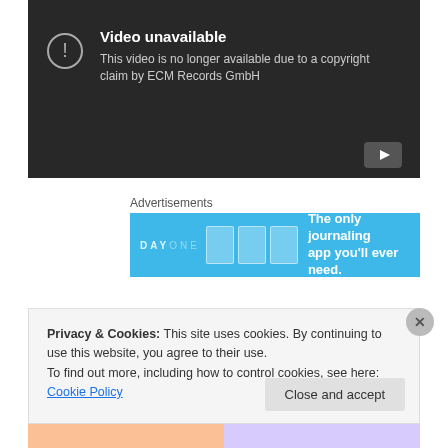[Figure (screenshot): YouTube video unavailable screen with dark background showing 'Video unavailable' message. Text reads: 'This video is no longer available due to a copyright claim by ECM Records GmbH'. A circular exclamation icon is on the left. YouTube logo button at bottom right.]
Advertisements
[Figure (screenshot): Day One journaling app advertisement banner with blue background. Shows 'DAY ONE' text and app illustrations. Text: 'The only journaling app you'll ever need.']
Privacy & Cookies: This site uses cookies. By continuing to use this website, you agree to their use.
To find out more, including how to control cookies, see here: Cookie Policy